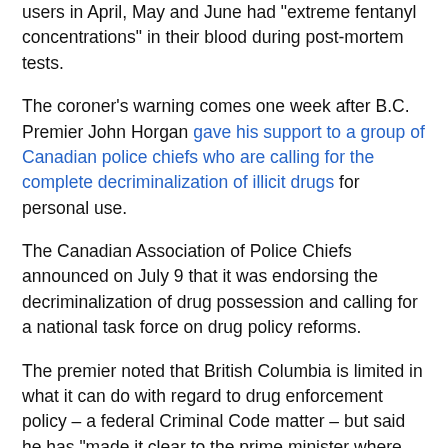users in April, May and June had "extreme fentanyl concentrations" in their blood during post-mortem tests.
The coroner's warning comes one week after B.C. Premier John Horgan gave his support to a group of Canadian police chiefs who are calling for the complete decriminalization of illicit drugs for personal use.
The Canadian Association of Police Chiefs announced on July 9 that it was endorsing the decriminalization of drug possession and calling for a national task force on drug policy reforms.
The premier noted that British Columbia is limited in what it can do with regard to drug enforcement policy – a federal Criminal Code matter – but said he has "made it clear to the prime minister where British Columbia stands."
Horgan responded to the report into B.C. drug deaths Thursday, saying the province plans to create more drug